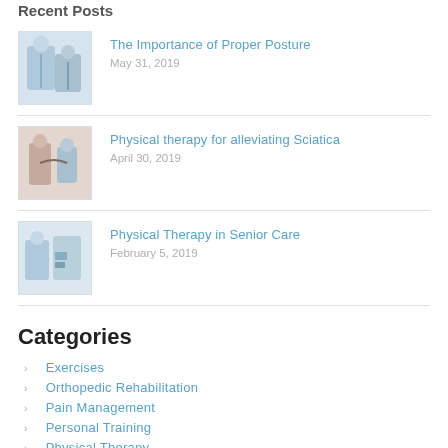Recent Posts
[Figure (photo): Physical therapist working with patient on posture]
The Importance of Proper Posture
May 31, 2019
[Figure (photo): Patient with back pain receiving physical therapy]
Physical therapy for alleviating Sciatica
April 30, 2019
[Figure (photo): Physical therapist in senior care setting]
Physical Therapy in Senior Care
February 5, 2019
Categories
Exercises
Orthopedic Rehabilitation
Pain Management
Personal Training
Physical Therapy